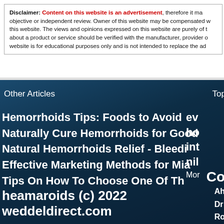Disclaimer: Content on this website is an advertisement, therefore it may not be objective or independent review. Owner of this website may be compensated with this website. The views and opinions expressed on this website are purely of the about a product or service should be verified with the manufacturer, provider or website is for educational purposes only and is not intended to replace the ad
Other Articles
Top
Hemorrhoids Tips: Foods to Avoid
Naturally Cure Hemorrhoids for Good
Natural Hemorrhoids Relief - Bleedi
Effective Marketing Methods for Mia
Tips On How To Choose One Of Th
ev
ho
int
nil
Mor
Co
Ah
Dr
Ro
Si
heamaroids (c) 2022 weddeldirect.com